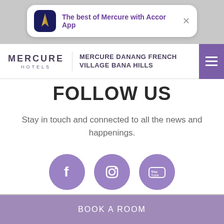[Figure (screenshot): App banner with Accor app icon and text 'The best of Mercure with Accor App']
MERCURE HOTELS — MERCURE DANANG FRENCH VILLAGE BANA HILLS
FOLLOW US
Stay in touch and connected to all the news and happenings.
[Figure (logo): Social media icons: Facebook, Instagram, YouTube — purple circles]
BOOK A ROOM